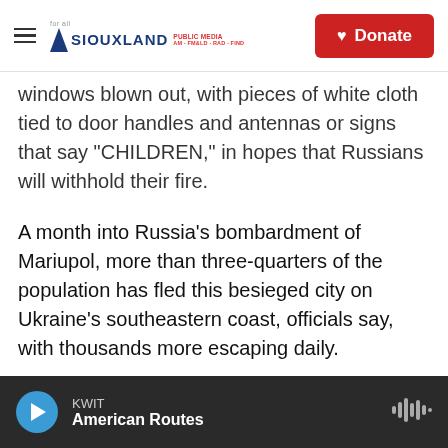Siouxland Public Media — Donate
windows blown out, with pieces of white cloth tied to door handles and antennas or signs that say "CHILDREN," in hopes that Russians will withhold their fire.
A month into Russia's bombardment of Mariupol, more than three-quarters of the population has fled this besieged city on Ukraine's southeastern coast, officials say, with thousands more escaping daily.
Each afternoon, crowds of people arrive from Mariupol at the parking lot of a mall on the edge of Zaporizhzia, after terrifying journeys through
KWIT — American Routes